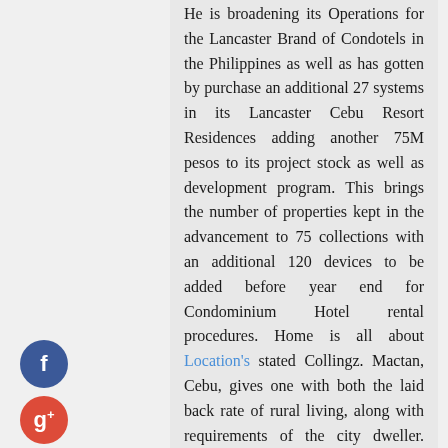He is broadening its Operations for the Lancaster Brand of Condotels in the Philippines as well as has gotten by purchase an additional 27 systems in its Lancaster Cebu Resort Residences adding another 75M pesos to its project stock as well as development program. This brings the number of properties kept in the advancement to 75 collections with an additional 120 devices to be added before year end for Condominium Hotel rental procedures. Home is all about Location's stated Collingz. Mactan, Cebu, gives one with both the laid back rate of rural living, along with requirements of the city dweller. Schools, medical facilities, restaurants, going shopping malls, and